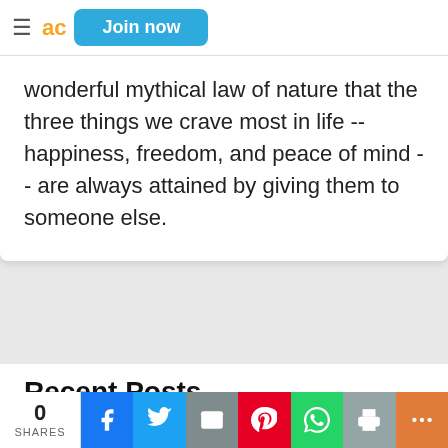ad  Join now
wonderful mythical law of nature that the three things we crave most in life -- happiness, freedom, and peace of mind -- are always attained by giving them to someone else.
Recent Posts
[Figure (photo): Dark photograph showing a ceiling fan silhouette against a dimly lit ceiling]
0 SHARES | Facebook | Twitter | Email | Pinterest | WhatsApp | Print | More